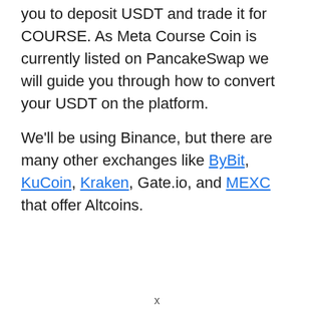you to deposit USDT and trade it for COURSE. As Meta Course Coin is currently listed on PancakeSwap we will guide you through how to convert your USDT on the platform.
We'll be using Binance, but there are many other exchanges like ByBit, KuCoin, Kraken, Gate.io, and MEXC that offer Altcoins.